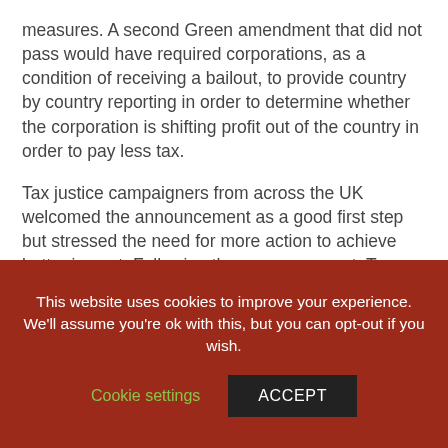measures. A second Green amendment that did not pass would have required corporations, as a condition of receiving a bailout, to provide country by country reporting in order to determine whether the corporation is shifting profit out of the country in order to pay less tax.
Tax justice campaigners from across the UK welcomed the announcement as a good first step but stressed the need for more action to achieve better impact. Following the announcement, Tax Justice UK launched a petition calling on Westminster to take similar measures to ensure bailouts come with conditions attached so companies pay their fair share of tax.
This website uses cookies to improve your experience. We'll assume you're ok with this, but you can opt-out if you wish.
Cookie settings
ACCEPT